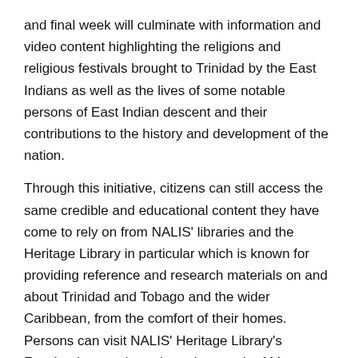and final week will culminate with information and video content highlighting the religions and religious festivals brought to Trinidad by the East Indians as well as the lives of some notable persons of East Indian descent and their contributions to the history and development of the nation.
Through this initiative, citizens can still access the same credible and educational content they have come to rely on from NALIS' libraries and the Heritage Library in particular which is known for providing reference and research materials on and about Trinidad and Tobago and the wider Caribbean, from the comfort of their homes. Persons can visit NALIS' Heritage Library's Facebook page throughout the month of May to learn about the rich and vibrant heritage of the East Indian presence here in Trinidad and Tobago.
Arrival of East Indians to Trinidad
The arrival of the East Indians to Trinidad spanned over the period of 1845 to 1917 whereby over 140,000 East Indians were transported to the island. The arrival of these East Indian